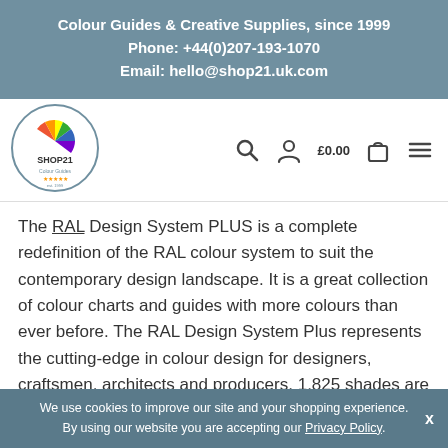Colour Guides & Creative Supplies, since 1999
Phone: +44(0)207-193-1070
Email: hello@shop21.uk.com
[Figure (logo): Shop21 Colour Guides circular logo with rainbow fan icon]
[Figure (infographic): Navigation bar icons: search, user account, cart showing £0.00, hamburger menu]
The RAL Design System PLUS is a complete redefinition of the RAL colour system to suit the contemporary design landscape. It is a great collection of colour charts and guides with more colours than ever before. The RAL Design System Plus represents the cutting-edge in colour design for designers, craftsmen, architects and producers. 1,825 shades are
We use cookies to improve our site and your shopping experience. By using our website you are accepting our Privacy Policy.